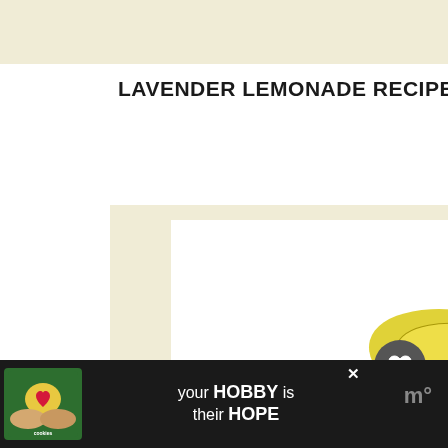[Figure (other): Top banner with cream/beige background, partially visible content above the fold]
LAVENDER LEMONADE RECIPE
[Figure (photo): Photo of lavender lemonade: glass with lemon slices, black straws, lavender sprigs on white background, inside cream-colored frame]
Lavender Lemonade
[Figure (other): Advertisement banner at bottom: cookies by kids cause logo, 'your HOBBY is their HOPE' text, close button, and site logo on right]